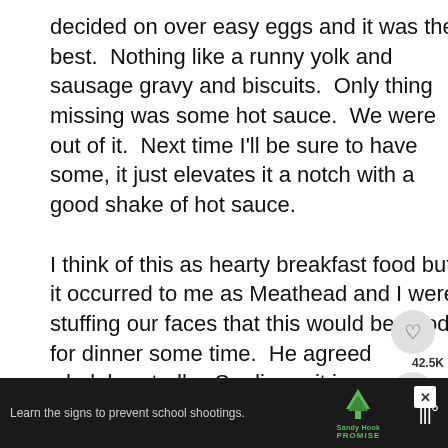decided on over easy eggs and it was the best.  Nothing like a runny yolk and sausage gravy and biscuits.  Only thing missing was some hot sauce.  We were out of it.  Next time I'll be sure to have some, it just elevates it a notch with a good shake of hot sauce.

I think of this as hearty breakfast food but it occurred to me as Meathead and I were stuffing our faces that this would be good for dinner some time.  He agreed wholeheartedly.  So dinner it is sometime soon.  We're still talking about this is ~ Kelly
[Figure (infographic): Social media UI overlay: heart/like button with 42.5K count, share button, and a 'What's Next' card showing Vermont Chicken Pie]
[Figure (infographic): Advertisement banner: dark background, text 'Learn the signs to prevent school shootings.' with Sandy Hook Promise logo and mute icon]